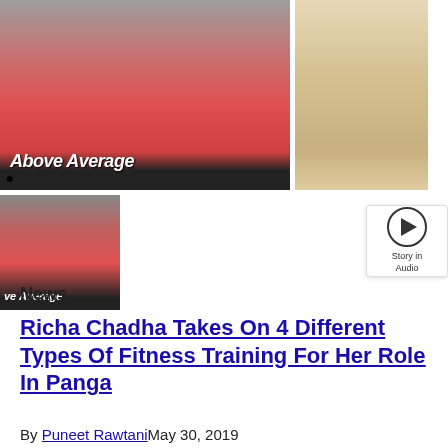[Figure (photo): Two fashion/editorial photos of a woman: left photo shows woman in red 'Above Average' tank top, right photo shows woman in white outfit. Below: smaller cropped version of the left photo and audio player widget.]
News
Richa Chadha Takes On 4 Different Types Of Fitness Training For Her Role In Panga
By Puneet RawtaniMay 30, 2019